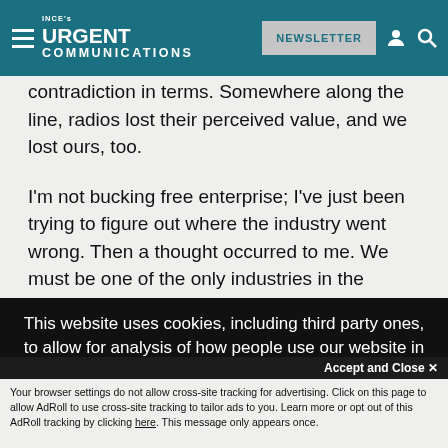INCE's URGENT COMMUNICATIONS | NEWSLETTER
contradiction in terms. Somewhere along the line, radios lost their perceived value, and we lost ours, too.

I'm not bucking free enterprise; I've just been trying to figure out where the industry went wrong. Then a thought occurred to me. We must be one of the only industries in the country without a national
This website uses cookies, including third party ones, to allow for analysis of how people use our website in order to improve your experience and our services. By continuing to use our website, you agree to the use of such cookies. Click here for more information on our Cookie Policy and Privacy Policy
Accept and Close ✕
Your browser settings do not allow cross-site tracking for advertising. Click on this page to allow AdRoll to use cross-site tracking to tailor ads to you. Learn more or opt out of this AdRoll tracking by clicking here. This message only appears once.